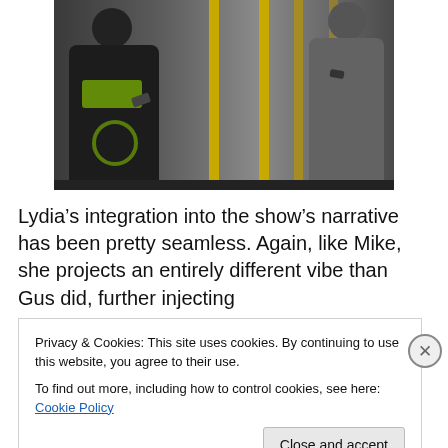[Figure (photo): Two people in an industrial setting (warehouse/garage with yellow pillars), both looking at phones. Person on left wears a dark hoodie, person on right wears a gray top.]
Lydia’s integration into the show’s narrative has been pretty seamless. Again, like Mike, she projects an entirely different vibe than Gus did, further injecting
less menace and more unexpected novice behavior into
Privacy & Cookies: This site uses cookies. By continuing to use this website, you agree to their use.
To find out more, including how to control cookies, see here: Cookie Policy
Close and accept